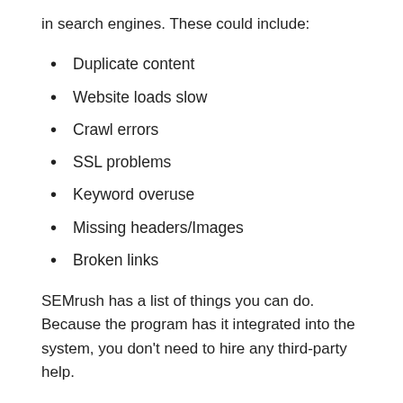in search engines. These could include:
Duplicate content
Website loads slow
Crawl errors
SSL problems
Keyword overuse
Missing headers/Images
Broken links
SEMrush has a list of things you can do. Because the program has it integrated into the system, you don't need to hire any third-party help.
They also offer an On-Page Search Engine Optimization Checker. It improves SEO results by proposing possible adjustments.
SEMrush also provides new information. SEMrush will help you